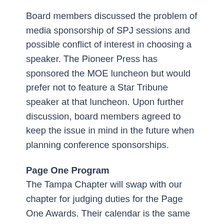Board members discussed the problem of media sponsorship of SPJ sessions and possible conflict of interest in choosing a speaker. The Pioneer Press has sponsored the MOE luncheon but would prefer not to feature a Star Tribune speaker at that luncheon. Upon further discussion, board members agreed to keep the issue in mind in the future when planning conference sponsorships.
Page One Program
The Tampa Chapter will swap with our chapter for judging duties for the Page One Awards. Their calendar is the same as ours and the timing works out well.
Kupchella said he thought he might be able to get